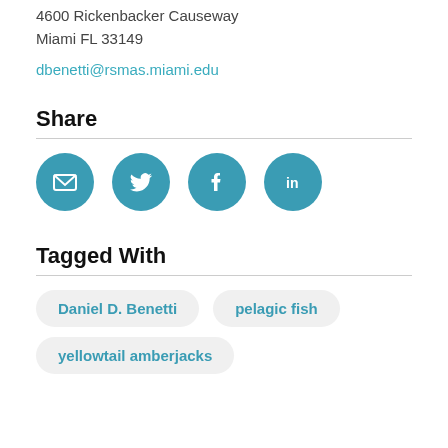4600 Rickenbacker Causeway
Miami FL 33149
dbenetti@rsmas.miami.edu
Share
[Figure (infographic): Four circular social share buttons: email (envelope icon), Twitter (bird icon), Facebook (f icon), LinkedIn (in icon), all in teal/blue color]
Tagged With
Daniel D. Benetti
pelagic fish
yellowtail amberjacks